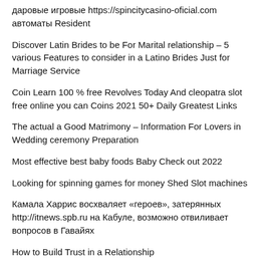даровые игровые https://spincitycasino-oficial.com автоматы Resident
Discover Latin Brides to be For Marital relationship – 5 various Features to consider in a Latino Brides Just for Marriage Service
Coin Learn 100 % free Revolves Today And cleopatra slot free online you can Coins 2021 50+ Daily Greatest Links
The actual a Good Matrimony – Information For Lovers in Wedding ceremony Preparation
Most effective best baby foods Baby Check out 2022
Looking for spinning games for money Shed Slot machines
Камала Харрис восхваляет «героев», затерянных http://itnews.spb.ru на Кабуле, возможно отвиливает вопросов в Гавайях
How to Build Trust in a Relationship